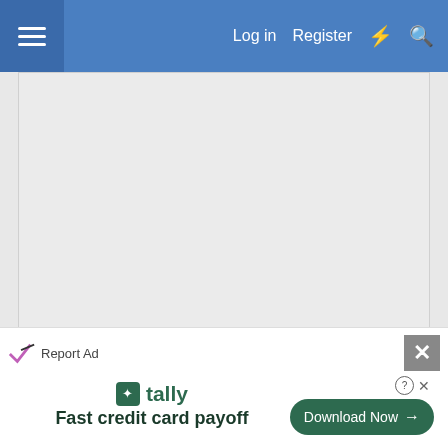Log in  Register
[Figure (screenshot): Large grey advertisement placeholder area]
Report Ad
6 Mar 2007  #4
[Figure (screenshot): Post content area with purple avatar placeholder]
[Figure (infographic): Tally app advertisement overlay: Fast credit card payoff, Download Now button]